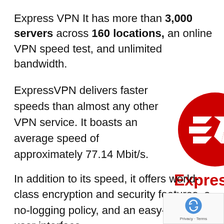Express VPN It has more than 3,000 servers across 160 locations, an online VPN speed test, and unlimited bandwidth.
ExpressVPN delivers faster speeds than almost any other VPN service. It boasts an average speed of approximately 77.14 Mbit/s.
[Figure (logo): ExpressVPN logo: red circle with stylized 'EV' monogram above red text reading 'ExpressVPN']
In addition to its speed, it offers world-class encryption and security features, a no-logging policy, and an easy-to-use user interface.